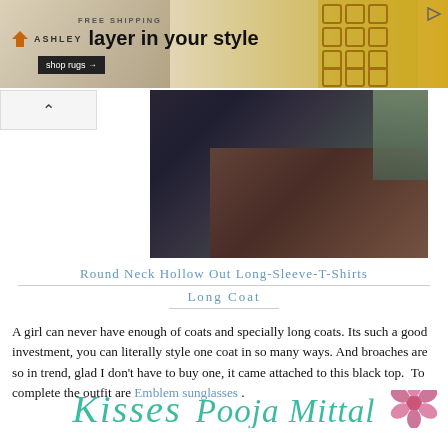[Figure (photo): Ashley furniture advertisement banner with 'FREE SHIPPING' and 'layer in your style' tagline with 'shop rugs' button]
[Figure (photo): Fashion photo showing a person wearing a long coat and black top, carrying a burgundy bag]
Round Neck Hollow Out Long-Sleeve-T-Shirts Long Coat
A girl can never have enough of coats and specially long coats. Its such a good investment, you can literally style one coat in so many ways. And broaches are so in trend, glad I don't have to buy one, it came attached to this black top. To complete the outfit are Emblem sunglasses .
[Figure (illustration): Cursive script signature reading 'Kisses' and 'Pooja Mittal' in teal/green color with decorative flower]